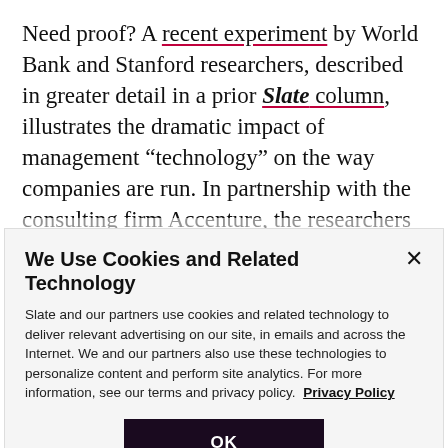Need proof? A recent experiment by World Bank and Stanford researchers, described in greater detail in a prior Slate column, illustrates the dramatic impact of management “technology” on the way companies are run. In partnership with the consulting firm Accenture, the researchers randomly assigned a management makeover to a handful of Indian textile firms, while at the same time following a set of control textile factories
We Use Cookies and Related Technology
Slate and our partners use cookies and related technology to deliver relevant advertising on our site, in emails and across the Internet. We and our partners also use these technologies to personalize content and perform site analytics. For more information, see our terms and privacy policy. Privacy Policy